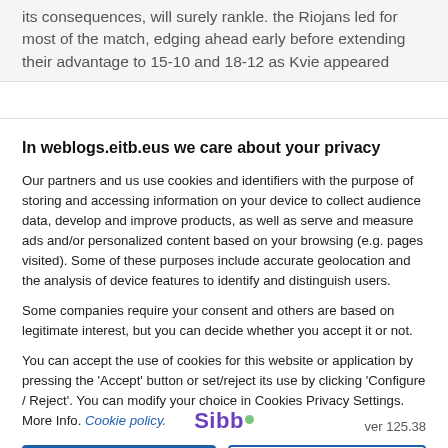its consequences, will surely rankle. the Riojans led for most of the match, edging ahead early before extending their advantage to 15-10 and 18-12 as Kvie appeared
In weblogs.eitb.eus we care about your privacy
Our partners and us use cookies and identifiers with the purpose of storing and accessing information on your device to collect audience data, develop and improve products, as well as serve and measure ads and/or personalized content based on your browsing (e.g. pages visited). Some of these purposes include accurate geolocation and the analysis of device features to identify and distinguish users.
Some companies require your consent and others are based on legitimate interest, but you can decide whether you accept it or not.
You can accept the use of cookies for this website or application by pressing the 'Accept' button or set/reject its use by clicking 'Configure / Reject'. You can modify your choice in Cookies Privacy Settings. More Info. Cookie policy.
Accept
More options
See list of partners
Sibbo  ver 125.38